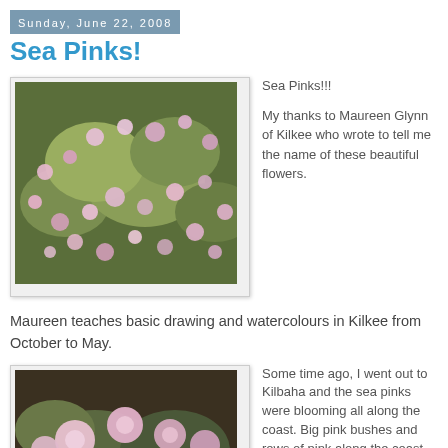Sunday, June 22, 2008
Sea Pinks!
[Figure (photo): Close-up photo of sea pinks (Armeria maritima) flowers blooming, showing clusters of small pink and white flowers above green grass-like foliage]
Sea Pinks!!!

My thanks to Maureen Glynn of Kilkee who wrote to tell me the name of these beautiful flowers.
Maureen teaches basic drawing and watercolours in Kilkee from October to May.
[Figure (photo): Close-up photo of sea pinks flowers, showing larger pink blooms with green stems against a dark background]
Some time ago, I went out to Kilbaha and the sea pinks were blooming all along the coast. Big pink bushes and rows of pink along the coast - these flowers are gorgeous.